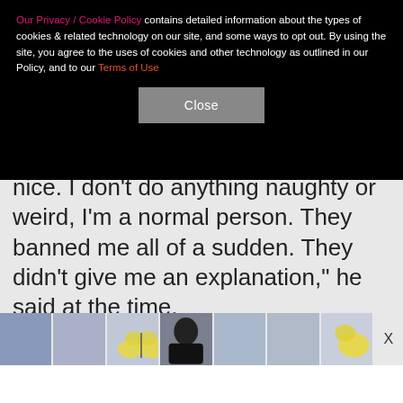Our Privacy / Cookie Policy contains detailed information about the types of cookies & related technology on our site, and some ways to opt out. By using the site, you agree to the uses of cookies and other technology as outlined in our Policy, and to our Terms of Use
Close
nice. I don't do anything naughty or weird, I'm a normal person. They banned me all of a sudden. They didn't give me an explanation," he said at the time.
Afterward, Tinder reinstated him and sent him an apology package, which consisted of a T-shirt and coffee mugs bearing the words "World's Hottest Single" and "Happy Valentine's Day… to Me."
[Figure (other): Horizontal ad strip with thumbnail images and an X close button]